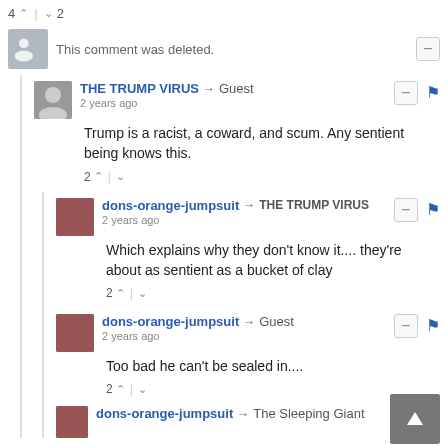4 ^ | v 2
This comment was deleted.
THE TRUMP VIRUS → Guest
2 years ago
Trump is a racist, a coward, and scum. Any sentient being knows this.
2 ^ | v
dons-orange-jumpsuit → THE TRUMP VIRUS
2 years ago
Which explains why they don't know it.... they're about as sentient as a bucket of clay
2 ^ | v
dons-orange-jumpsuit → Guest
2 years ago
Too bad he can't be sealed in....
2 ^ | v
dons-orange-jumpsuit → The Sleeping Giant